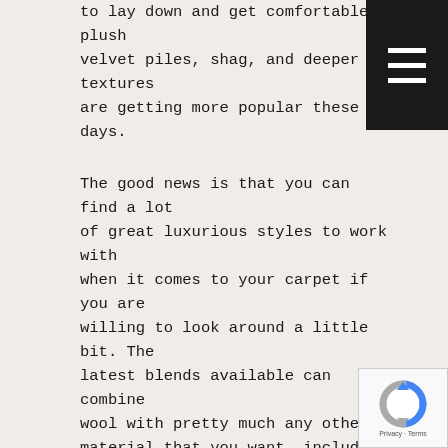to lay down and get comfortable, plush velvet piles, shag, and deeper textures are getting more popular these days.
The good news is that you can find a lot of great luxurious styles to work with when it comes to your carpet if you are willing to look around a little bit. The latest blends available can combine wool with pretty much any other material that you want, including paper, cotton, linen, and silk. These fibers can be woven in to make the carpet unique and amazing.
If you would like to go with a natural flooring but you are worried about it getting scratched up from kids and pets,
[Figure (other): Black hamburger menu button icon with three white horizontal lines]
[Figure (other): reCAPTCHA badge with blue and grey circular arrow icon and Privacy - Terms text]